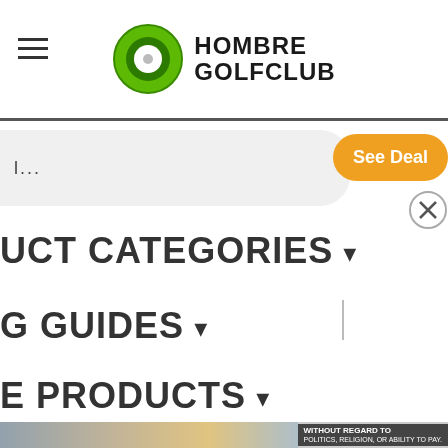HOMBRE GOLFCLUB
...
See Deal
UCT CATEGORIES ▾
G GUIDES ▾
E PRODUCTS ▾
[Figure (photo): An airplane being loaded with cargo/freight. Overlaid text reads: WITHOUT REGARD TO POLITICS, RELIGION, OR ABILITY TO PAY.]